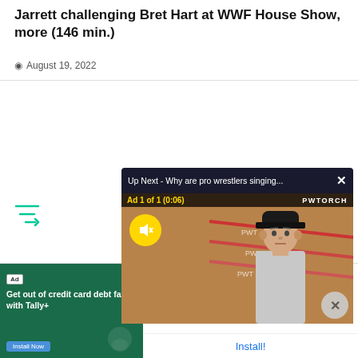Jarrett challenging Bret Hart at WWF House Show, more (146 min.)
August 19, 2022
[Figure (screenshot): Video player overlay panel with 'Up Next - Why are pro wrestlers singing...' header and ad showing a man in a black cap in front of a wrestling ring. Ad 1 of 1 (0:06), PWTORCH branding, muted button visible.]
[Figure (screenshot): Ad banner for Tally: PayOff Debt Faster app. Left side green background with text 'Get out of credit card debt faster with Tally+'. Right side shows Tally app icon and name with Install button.]